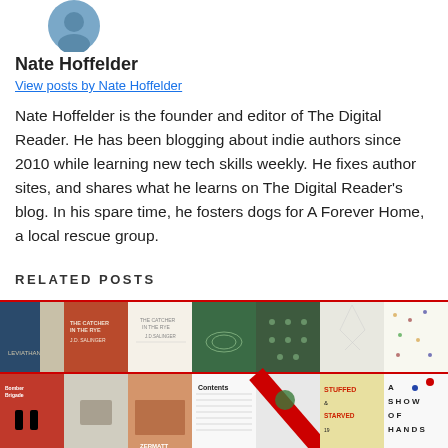[Figure (photo): Author avatar photo of Nate Hoffelder, circular crop]
Nate Hoffelder
View posts by Nate Hoffelder
Nate Hoffelder is the founder and editor of The Digital Reader. He has been blogging about indie authors since 2010 while learning new tech skills weekly. He fixes author sites, and shares what he learns on The Digital Reader's blog. In his spare time, he fosters dogs for A Forever Home, a local rescue group.
RELATED POSTS
[Figure (illustration): Grid of book cover thumbnails showing various books including The Catcher in the Rye and others]